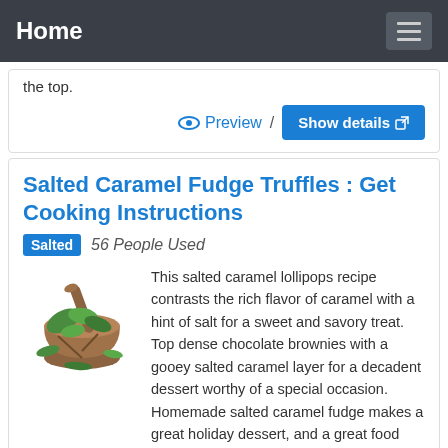Home
the top.
Preview / Show details
Salted Caramel Fudge Truffles : Get Cooking Instructions
Salted  56 People Used
[Figure (photo): Mortar and pestle with fresh herbs and green leaves]
This salted caramel lollipops recipe contrasts the rich flavor of caramel with a hint of salt for a sweet and savory treat. Top dense chocolate brownies with a gooey salted caramel layer for a decadent dessert worthy of a special occasion. Homemade salted caramel fudge makes a great holiday dessert, and a great food gift, too.